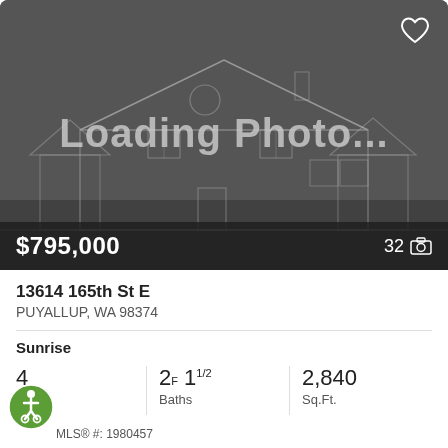[Figure (screenshot): Loading Photo placeholder image with outline drawing of a two-story house on dark gray background]
$795,000
32
13614 165th St E
PUYALLUP, WA 98374
Sunrise
4 Beds
2F 11/2 Baths
2,840 Sq.Ft.
MLS® #: 1980457